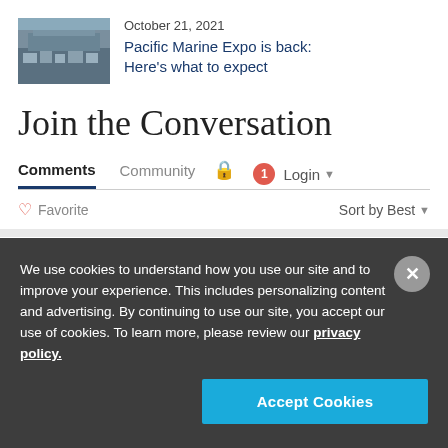October 21, 2021
Pacific Marine Expo is back: Here's what to expect
Join the Conversation
Comments  Community  🔒  1  Login
♡ Favorite    Sort by Best
We use cookies to understand how you use our site and to improve your experience. This includes personalizing content and advertising. By continuing to use our site, you accept our use of cookies. To learn more, please review our privacy policy.
Accept Cookies